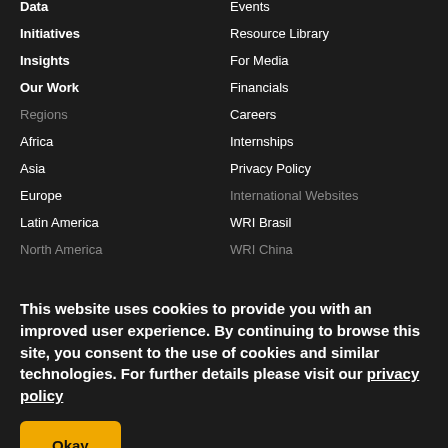Data
Initiatives
Insights
Our Work
Regions
Africa
Asia
Europe
Latin America
North America
Cities
Climate
Energy
Ocean
Events
Resource Library
For Media
Financials
Careers
Internships
Privacy Policy
International Websites
WRI Brasil
WRI China
WRI India
This website uses cookies to provide you with an improved user experience. By continuing to browse this site, you consent to the use of cookies and similar technologies. For further details please visit our privacy policy
Okay